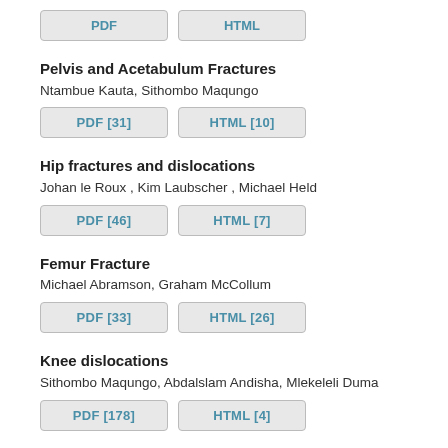PDF [31]   HTML [10]
Pelvis and Acetabulum Fractures
Ntambue Kauta, Sithombo Maqungo
PDF [31]   HTML [10]
Hip fractures and dislocations
Johan le Roux , Kim Laubscher , Michael Held
PDF [46]   HTML [7]
Femur Fracture
Michael Abramson, Graham McCollum
PDF [33]   HTML [26]
Knee dislocations
Sithombo Maqungo, Abdalslam Andisha, Mlekeleli Duma
PDF [178]   HTML [4]
Ankle and Plafond Fractures
Johan le Roux , Stefan Wever, Michael Held